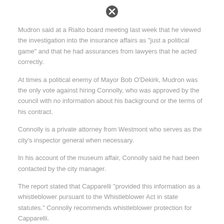[Figure (other): Close/cancel icon (circle with X) at top of page]
Mudron said at a Rialto board meeting last week that he viewed the investigation into the insurance affairs as "just a political game" and that he had assurances from lawyers that he acted correctly.
At times a political enemy of Mayor Bob O'Dekirk, Mudron was the only vote against hiring Connolly, who was approved by the council with no information about his background or the terms of his contract.
Connolly is a private attorney from Westmont who serves as the city's inspector general when necessary.
In his account of the museum affair, Connolly said he had been contacted by the city manager.
The report stated that Capparelli "provided this information as a whistleblower pursuant to the Whistleblower Act in state statutes." Connolly recommends whistleblower protection for Capparelli.
[Figure (other): Close/cancel icon (circle with X) at bottom of page]